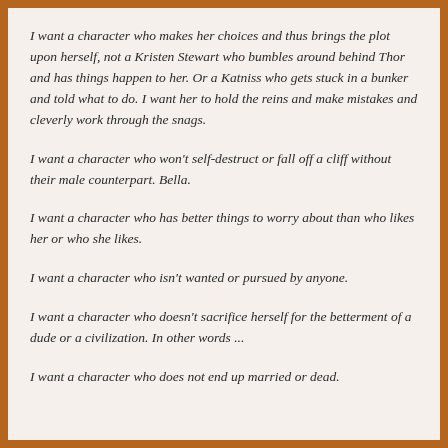I want a character who makes her choices and thus brings the plot upon herself, not a Kristen Stewart who bumbles around behind Thor and has things happen to her. Or a Katniss who gets stuck in a bunker and told what to do. I want her to hold the reins and make mistakes and cleverly work through the snags.
I want a character who won't self-destruct or fall off a cliff without their male counterpart. Bella.
I want a character who has better things to worry about than who likes her or who she likes.
I want a character who isn't wanted or pursued by anyone.
I want a character who doesn't sacrifice herself for the betterment of a dude or a civilization. In other words ...
I want a character who does not end up married or dead.